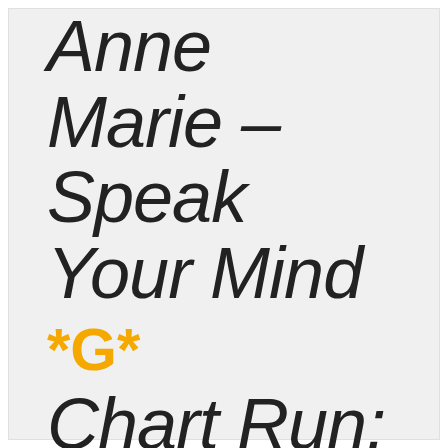Anne Marie – Speak Your Mind *G* Chart Run: